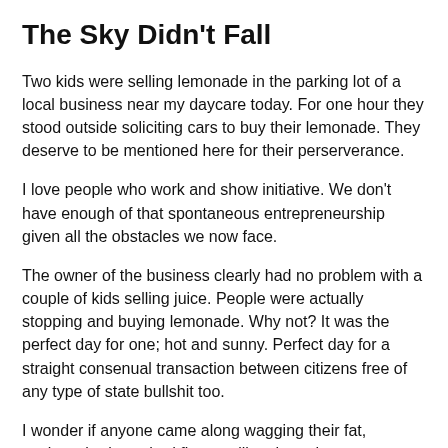The Sky Didn't Fall
Two kids were selling lemonade in the parking lot of a local business near my daycare today. For one hour they stood outside soliciting cars to buy their lemonade. They deserve to be mentioned here for their perserverance.
I love people who work and show initiative. We don't have enough of that spontaneous entrepreneurship given all the obstacles we now face.
The owner of the business clearly had no problem with a couple of kids selling juice. People were actually stopping and buying lemonade. Why not? It was the perfect day for one; hot and sunny. Perfect day for a straight consenual transaction between citizens free of any type of state bullshit too.
I wonder if anyone came along wagging their fat, useless, brainwashed finger telling them they were breaking the law.